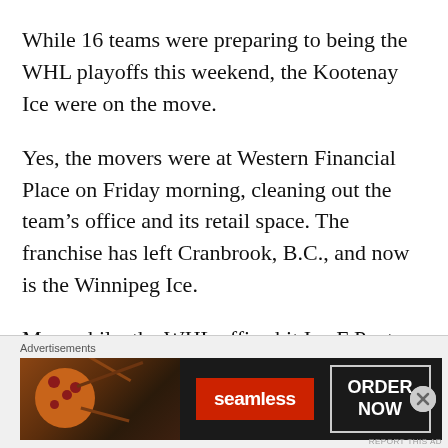While 16 teams were preparing to being the WHL playoffs this weekend, the Kootenay Ice were on the move.
Yes, the movers were at Western Financial Place on Friday morning, cleaning out the team’s office and its retail space. The franchise has left Cranbrook, B.C., and now is the Winnipeg Ice.
Meanwhile, the WHL office hit Ice F Peyton Krebs with a one-game suspension after he was hit with a checking-from-behind major
[Figure (other): Advertisement banner for Seamless food ordering service showing pizza image on left, Seamless logo in red, and ORDER NOW button on right against dark background. Labeled 'Advertisements' above.]